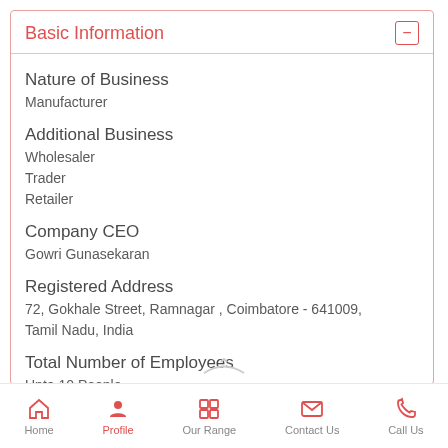Basic Information
Nature of Business
Manufacturer
Additional Business
Wholesaler
Trader
Retailer
Company CEO
Gowri Gunasekaran
Registered Address
72, Gokhale Street, Ramnagar , Coimbatore - 641009, Tamil Nadu, India
Total Number of Employees
Upto 10 People
Year of Establishment
Home   Profile   Our Range   Contact Us   Call Us